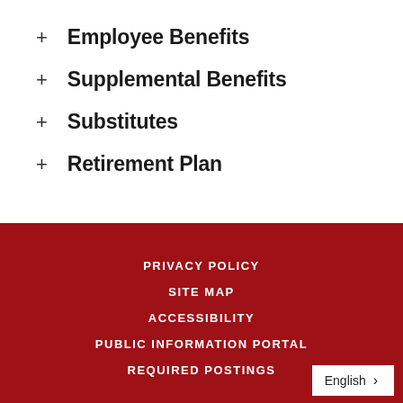+ Employee Benefits
+ Supplemental Benefits
+ Substitutes
+ Retirement Plan
PRIVACY POLICY
SITE MAP
ACCESSIBILITY
PUBLIC INFORMATION PORTAL
REQUIRED POSTINGS